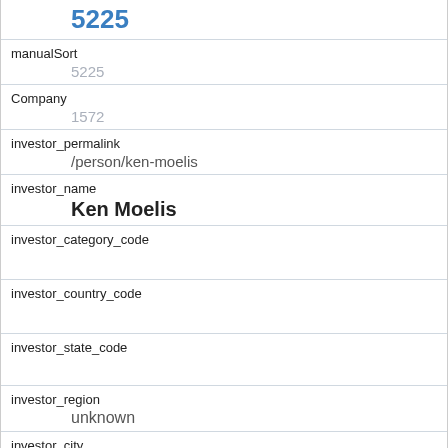5225
manualSort
5225
Company
1572
investor_permalink
/person/ken-moelis
investor_name
Ken Moelis
investor_category_code
investor_country_code
investor_state_code
investor_region
unknown
investor_city
funding_round_type
series-b